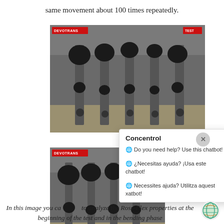same movement about 100 times repeatedly.
[Figure (photo): Close-up photo of mechanical testing apparatus (Ross-Flex machine) showing multiple black knobs and sliders on a metal frame. Red label 'DEVOTRANS' at top left and 'TEST' at top right.]
[Figure (photo): Second close-up photo of the same mechanical testing apparatus. Red label 'DEVOTRANS' at top left.]
Concentrol
🌐 Do you need help? Use this chatbot!
🌐 ¿Necesitas ayuda? ¡Usa este chatbot!
🌐 Necessites ajuda? Utilitza aquest xatbot!
In this image you can see... to analyze the Ross-Flex properties at the beginning of the test and in the bending phase